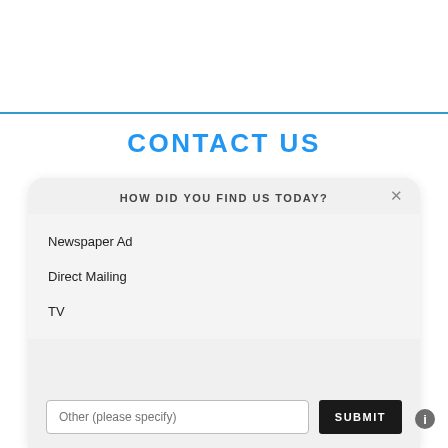CONTACT US
HOW DID YOU FIND US TODAY?
Newspaper Ad
Direct Mailing
TV
Other (please specify)
SUBMIT